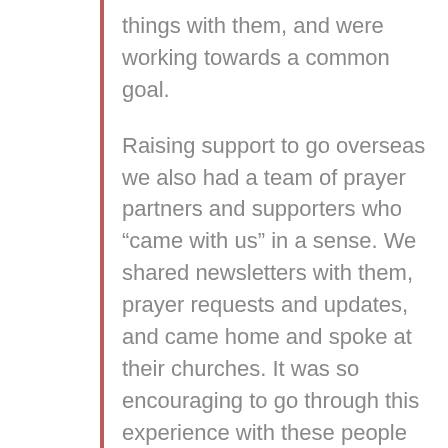things with them, and were working towards a common goal.
Raising support to go overseas we also had a team of prayer partners and supporters who “came with us” in a sense. We shared newsletters with them, prayer requests and updates, and came home and spoke at their churches. It was so encouraging to go through this experience with these people